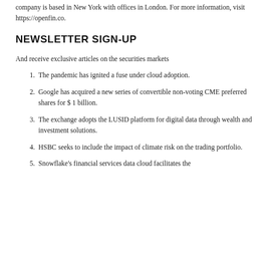company is based in New York with offices in London. For more information, visit https://openfin.co.
NEWSLETTER SIGN-UP
And receive exclusive articles on the securities markets
The pandemic has ignited a fuse under cloud adoption.
Google has acquired a new series of convertible non-voting CME preferred shares for $ 1 billion.
The exchange adopts the LUSID platform for digital data through wealth and investment solutions.
HSBC seeks to include the impact of climate risk on the trading portfolio.
Snowflake's financial services data cloud facilitates the